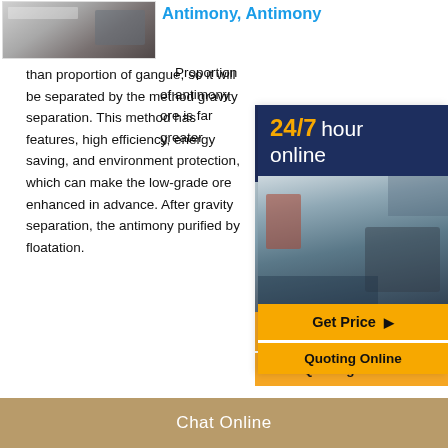[Figure (photo): Industrial mining equipment/trucks at a site, top-left thumbnail image]
Antimony, Antimony
Proportion of antimony ore is far greater than proportion of gangue, so it will be separated by the method gravity separation. This method has features, high efficiency, energy saving, and environment protection, which can make the low-grade ore enhanced in advance. After gravity separation, the antimony purified by floatation.
[Figure (infographic): Sidebar banner: 24/7 hour online with industrial machinery photo, Get Price button, Quoting Online button]
[Figure (photo): Industrial mineral processing equipment inside a facility, second thumbnail image]
Get Price
Antimony Mineral Processing
Antimony Mineral Processing Introduction. Proportion of antimony ore is far greater than proportion of gangue, so it will be separated by using the method gravity separation.This method has many features, high efficiency, energy saving, and environment protection, which can make the low-
Chat Online